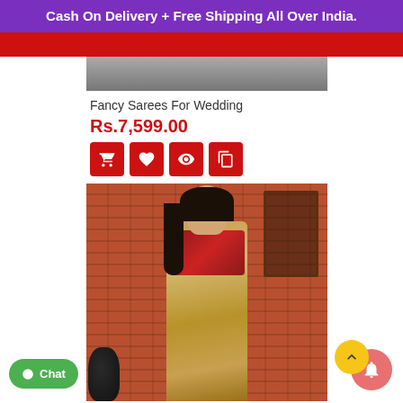Cash On Delivery + Free Shipping All Over India.
[Figure (photo): Partially visible product image at top (cropped)]
Fancy Sarees For Wedding
Rs.7,599.00
[Figure (photo): Woman wearing a golden/beige silk saree with red embroidered blouse, standing in front of a brick wall backdrop]
Chat